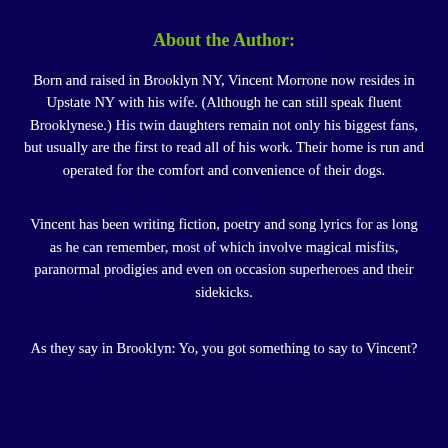About the Author:
Born and raised in Brooklyn NY, Vincent Morrone now resides in Upstate NY with his wife. (Although he can still speak fluent Brooklynese.) His twin daughters remain not only his biggest fans, but usually are the first to read all of his work. Their home is run and operated for the comfort and convenience of their dogs.
Vincent has been writing fiction, poetry and song lyrics for as long as he can remember, most of which involve magical misfits, paranormal prodigies and even on occasion superheroes and their sidekicks.
As they say in Brooklyn: Yo, you got something to say to Vincent?